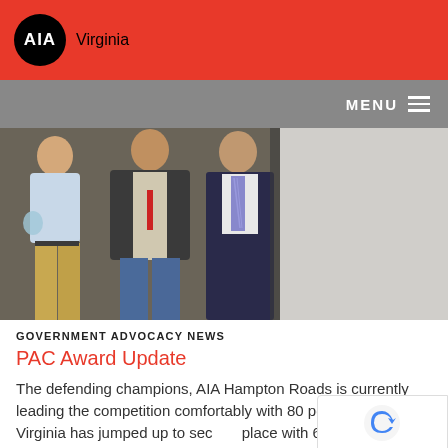AIA Virginia
[Figure (photo): Three men standing together at an event, one holding a glass award trophy. They appear to be at an indoor venue.]
GOVERNMENT ADVOCACY NEWS
PAC Award Update
The defending champions, AIA Hampton Roads is currently leading the competition comfortably with 80 points. AIA Central Virginia has jumped up to second place with 60 points.